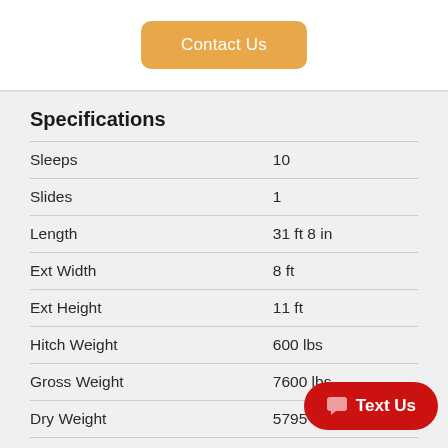[Figure (other): Orange 'Contact Us' button]
Specifications
| Specification | Value |
| --- | --- |
| Sleeps | 10 |
| Slides | 1 |
| Length | 31 ft 8 in |
| Ext Width | 8 ft |
| Ext Height | 11 ft |
| Hitch Weight | 600 lbs |
| Gross Weight | 7600 lbs |
| Dry Weight | 5795 lbs |
| Cargo Weight | 1805 lbs |
| Fresh Water Capacity | 49 gals |
| Grey Water Capacity | 35 gals |
[Figure (other): Red 'Text Us' chat button overlay]